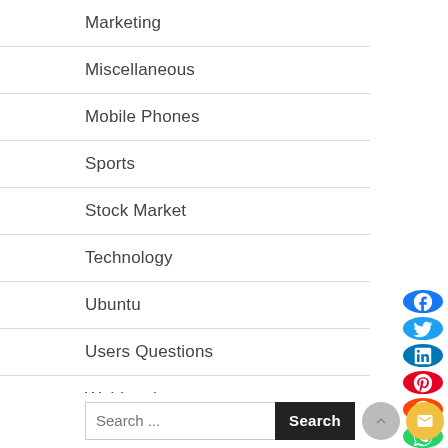Marketing
Miscellaneous
Mobile Phones
Sports
Stock Market
Technology
Ubuntu
Users Questions
Webhosting
Windows
Search ...